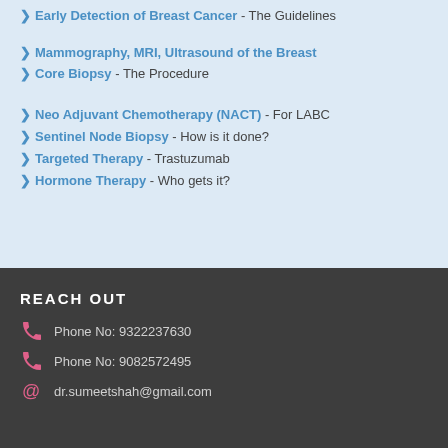Mammography, MRI, Ultrasound of the Breast
Core Biopsy - The Procedure
Neo Adjuvant Chemotherapy (NACT) - For LABC
Sentinel Node Biopsy - How is it done?
Targeted Therapy - Trastuzumab
Hormone Therapy - Who gets it?
REACH OUT
Phone No: 9322237630
Phone No: 9082572495
dr.sumeetshah@gmail.com